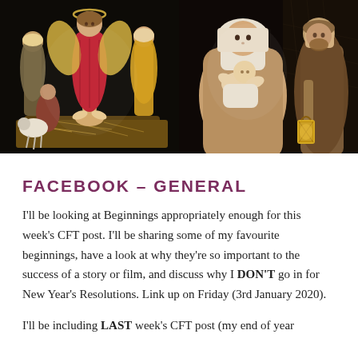[Figure (photo): Two side-by-side photos of nativity scene figurines. Left photo shows an elaborate nativity scene with multiple figures including an angel in red, a shepherd, and baby Jesus in a manger. Right photo shows a close-up of Mary holding baby Jesus with Joseph holding a lantern in the background.]
FACEBOOK – GENERAL
I'll be looking at Beginnings appropriately enough for this week's CFT post. I'll be sharing some of my favourite beginnings, have a look at why they're so important to the success of a story or film, and discuss why I DON'T go in for New Year's Resolutions. Link up on Friday (3rd January 2020).
I'll be including LAST week's CFT post (my end of year